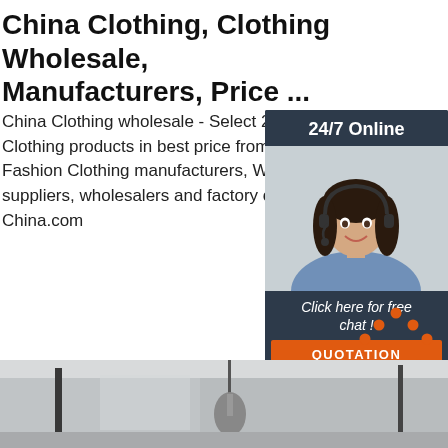China Clothing, Clothing Wholesale, Manufacturers, Price ...
China Clothing wholesale - Select 2021 high quality Clothing products in best price from certified Chinese Fashion Clothing manufacturers, Women suppliers, wholesalers and factory on Made-in-China.com
[Figure (photo): Advertisement panel with '24/7 Online' header, woman with headset, 'Click here for free chat!' text and QUOTATION button on dark navy background]
Get Price
[Figure (logo): TOP badge with orange dots forming a roof/arrow shape above the word TOP in orange letters]
[Figure (photo): Interior room photo strip showing ceiling details and a pendant lamp]